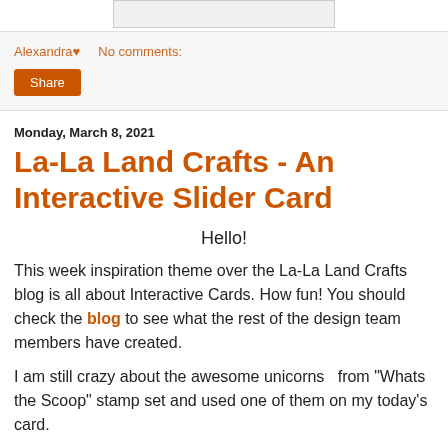[Figure (illustration): Partial image visible at the top of the page showing colorful decorative elements on a white background with a border]
Alexandra♥   No comments:
Share
Monday, March 8, 2021
La-La Land Crafts - An Interactive Slider Card
Hello!
This week inspiration theme over the La-La Land Crafts blog is all about Interactive Cards. How fun! You should check the blog to see what the rest of the design team members have created.
I am still crazy about the awesome unicorns  from "Whats the Scoop" stamp set and used one of them on my today's card.